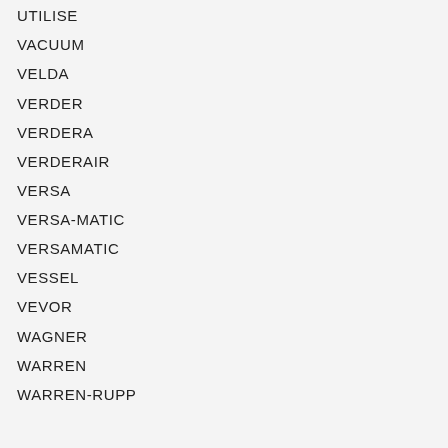UTILISE
VACUUM
VELDA
VERDER
VERDERA
VERDERAIR
VERSA
VERSA-MATIC
VERSAMATIC
VESSEL
VEVOR
WAGNER
WARREN
WARREN-RUPP